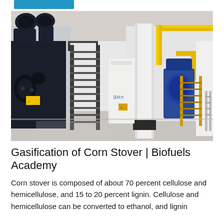[Figure (photo): Industrial gasification facility interior showing large black biomass gasification units with metal staircases, yellow piping overhead, white structural columns, and blue machinery in the background. The facility has a polished concrete floor and white walls.]
Gasification of Corn Stover | Biofuels Academy
Corn stover is composed of about 70 percent cellulose and hemicellulose, and 15 to 20 percent lignin. Cellulose and hemicellulose can be converted to ethanol, and lignin